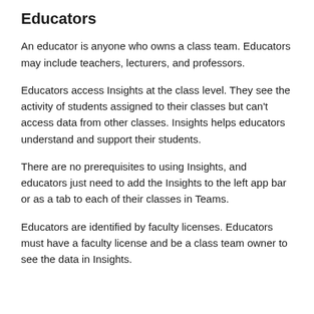Educators
An educator is anyone who owns a class team. Educators may include teachers, lecturers, and professors.
Educators access Insights at the class level. They see the activity of students assigned to their classes but can't access data from other classes. Insights helps educators understand and support their students.
There are no prerequisites to using Insights, and educators just need to add the Insights to the left app bar or as a tab to each of their classes in Teams.
Educators are identified by faculty licenses. Educators must have a faculty license and be a class team owner to see the data in Insights.